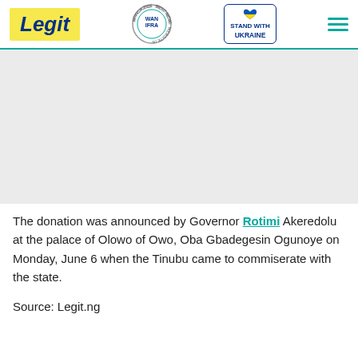Legit | WAN IFRA 2021 Best News Website in Africa | Stand with Ukraine
[Figure (other): Gray advertisement/banner placeholder area]
The donation was announced by Governor Rotimi Akeredolu at the palace of Olowo of Owo, Oba Gbadegesin Ogunoye on Monday, June 6 when the Tinubu came to commiserate with the state.
Source: Legit.ng